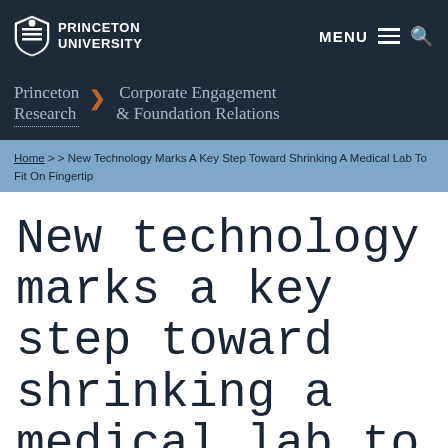PRINCETON UNIVERSITY  MENU  🔍
Princeton Research  >  Corporate Engagement & Foundation Relations
Home > > New Technology Marks A Key Step Toward Shrinking A Medical Lab To Fit On Fingertip
New technology marks a key step toward shrinking a medical lab to fit